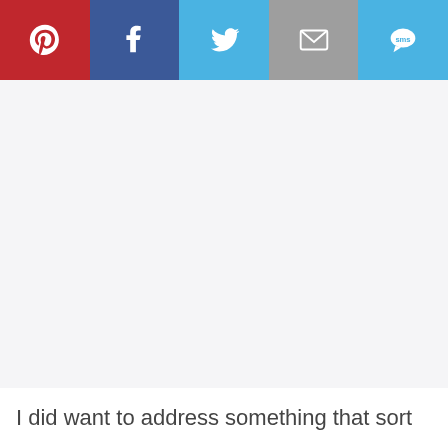[Figure (infographic): Social sharing toolbar with five icons: Pinterest (red background), Facebook (dark blue), Twitter (light blue with bird icon), Email (grey with envelope icon), SMS (light blue with speech bubble)]
I did want to address something that sort